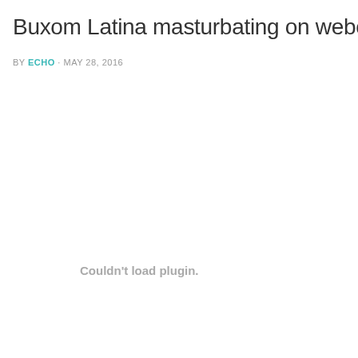Buxom Latina masturbating on webcam
BY ECHO · MAY 28, 2016
Couldn't load plugin.
Couldn't load plugin.